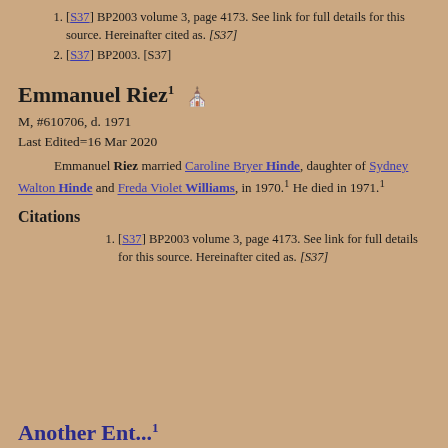[S37] BP2003 volume 3, page 4173. See link for full details for this source. Hereinafter cited as. [S37]
[S37] BP2003. [S37]
Emmanuel Riez1 🪦
M, #610706, d. 1971
Last Edited=16 Mar 2020
Emmanuel Riez married Caroline Bryer Hinde, daughter of Sydney Walton Hinde and Freda Violet Williams, in 1970.1 He died in 1971.1
Citations
[S37] BP2003 volume 3, page 4173. See link for full details for this source. Hereinafter cited as. [S37]
Another Entry...1